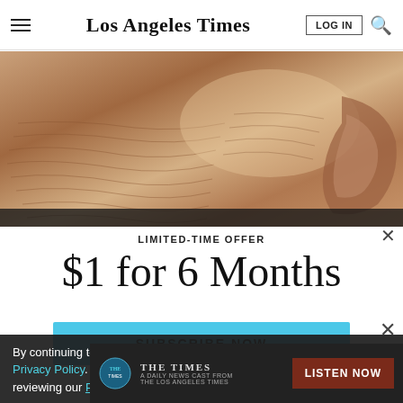Los Angeles Times
[Figure (photo): Close-up photo of aged, wrinkled skin near an ear, showing detailed texture and creases in warm brown and tan tones.]
LIMITED-TIME OFFER
$1 for 6 Months
SUBSCRIBE NOW
By continuing to use our site, you agree to our Terms of Service and Privacy Policy. You can learn more about how we use cookies by reviewing our Privacy Policy. Close